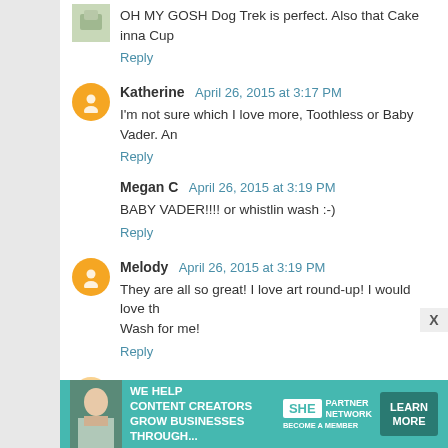OH MY GOSH Dog Trek is perfect. Also that Cake inna Cup
Reply
Katherine  April 26, 2015 at 3:17 PM
I'm not sure which I love more, Toothless or Baby Vader. An
Reply
Megan C  April 26, 2015 at 3:19 PM
BABY VADER!!!! or whistlin wash :-)
Reply
Melody  April 26, 2015 at 3:19 PM
They are all so great! I love art round-up! I would love th Wash for me!
Reply
Claire  April 26, 2015 at 3:21 PM
[Figure (infographic): SHE Partner Network advertisement banner with woman photo, text 'We help content creators grow businesses through...' and Learn More button]